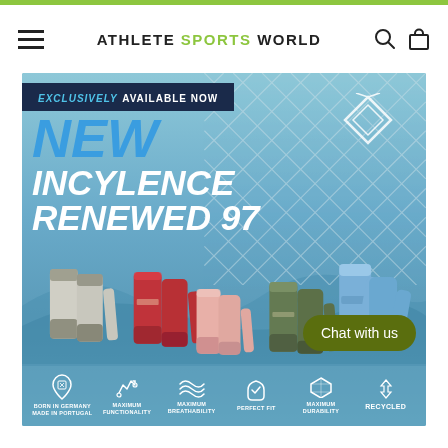ATHLETE SPORTS WORLD — navigation bar with hamburger menu, search icon, and cart icon
[Figure (photo): Promotional banner for Incylence ReNewed 97 socks. Blue ocean/beach background with net overlay. Text reads 'EXCLUSIVELY AVAILABLE NOW' on dark navy strip. Large italic text: 'NEW INCYLENCE RENEWED 97'. Product shots of socks in grey, red/crimson, pink, olive green, and blue colorways. Bottom row of feature icons: Born in Germany Made in Portugal, Maximum Functionality, Maximum Breathability, Perfect Fit, Maximum Durability, Recycled. Olive green 'Chat with us' button overlay.]